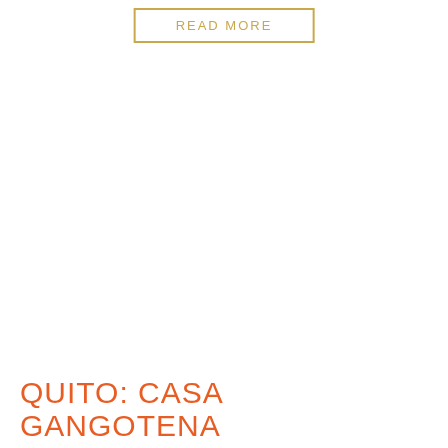READ MORE
QUITO: CASA GANGOTENA